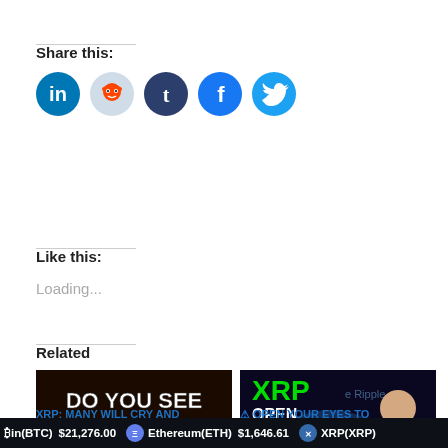Share this:
[Figure (infographic): Five social media share buttons: LinkedIn (blue circle), Reddit (light blue circle), Tumblr (dark navy circle), Facebook (blue circle), Twitter (blue circle)]
Like this:
Loading...
Related
[Figure (screenshot): Thumbnail image with flames background and text 'DO YOU SEE' with a red arrow pointing to a blurred social media post]
XRP: MANY WILL CRY AND
[Figure (screenshot): Thumbnail image with XRP text in green, 'OPEN YOUR EYES' in white on dark background with a globe and a man thinking]
⚠ OPEN YOUR EYES TO
in(BTC)  $21,276.00    Ethereum(ETH)  $1,646.61    XRP(XRP)